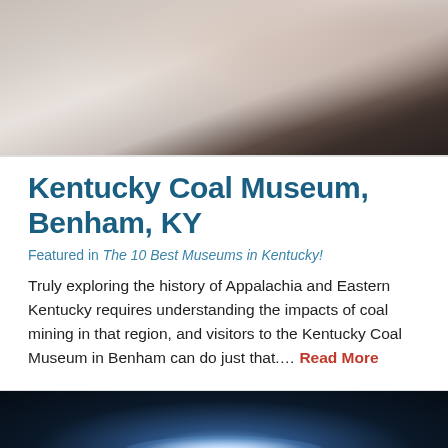[Figure (photo): Photo of a woman with dark hair viewed from behind in a gallery or museum setting with artwork on walls in background]
Kentucky Coal Museum, Benham, KY
Featured in The 10 Best Museums in Kentucky!
Truly exploring the history of Appalachia and Eastern Kentucky requires understanding the impacts of coal mining in that region, and visitors to the Kentucky Coal Museum in Benham can do just that.... Read More
[Figure (photo): Photo of stadium or arena lights shining brightly against a dark night sky]